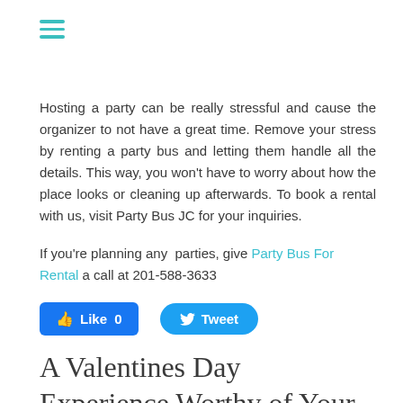[Figure (other): Hamburger menu icon with three teal horizontal lines]
Hosting a party can be really stressful and cause the organizer to not have a great time. Remove your stress by renting a party bus and letting them handle all the details. This way, you won't have to worry about how the place looks or cleaning up afterwards. To book a rental with us, visit Party Bus JC for your inquiries.
If you're planning any parties, give Party Bus For Rental a call at 201-588-3633
[Figure (other): Facebook Like button (blue, count 0) and Twitter Tweet button (blue rounded)]
A Valentines Day Experience Worthy of Your Lovely Partner